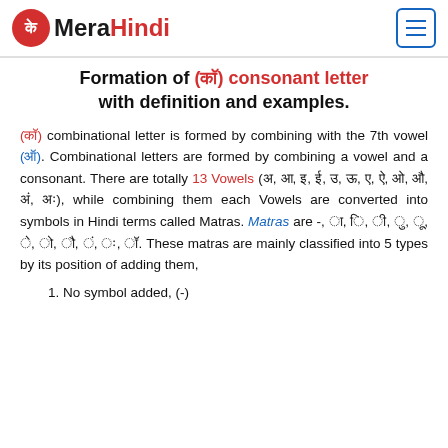MeraHindi
Formation of (कॉ) consonant letter with definition and examples.
(कॉ) combinational letter is formed by combining with the 7th vowel (ऑ). Combinational letters are formed by combining a vowel and a consonant. There are totally 13 Vowels (अ, आ, इ, ई, उ, ऊ, ए, ऐ, ओ, औ, अं, अः, ऑ), while combining them each Vowels are converted into symbols in Hindi terms called Matras. Matras are -, ा, ि, ी, ु, ू, े, ै, ो, ौ, ं, ः, ॉ. These matras are mainly classified into 5 types by its position of adding them,
1. No symbol added, (-)